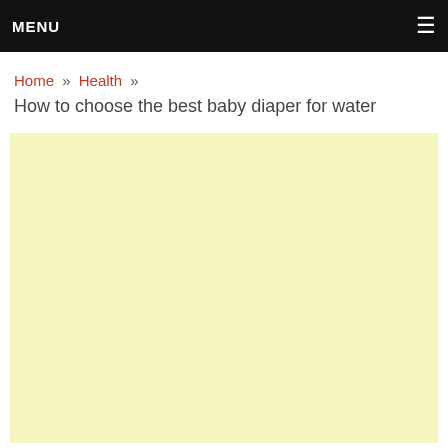MENU
Home » Health » How to choose the best baby diaper for water
How to choose the best baby diaper for water
[Figure (other): Large pale yellow advertisement/content block placeholder]